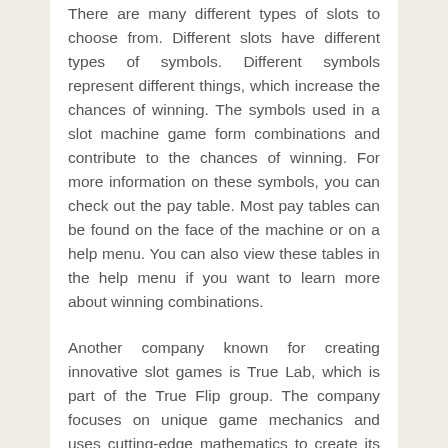There are many different types of slots to choose from. Different slots have different types of symbols. Different symbols represent different things, which increase the chances of winning. The symbols used in a slot machine game form combinations and contribute to the chances of winning. For more information on these symbols, you can check out the pay table. Most pay tables can be found on the face of the machine or on a help menu. You can also view these tables in the help menu if you want to learn more about winning combinations.
Another company known for creating innovative slot games is True Lab, which is part of the True Flip group. The company focuses on unique game mechanics and uses cutting-edge mathematics to create its video slots. This company's international game development team works to create a variety of video slots that appeal to a wide range of players. GameArt is another developer with extensive experience in the gambling industry. The company's slots are based on advanced mathematics and feature fun take on classic themes. As a result, they